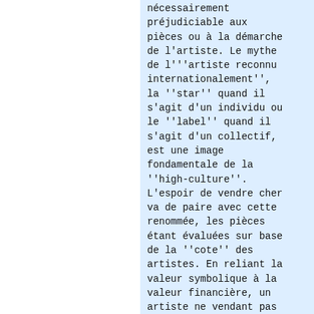nécessairement préjudiciable aux pièces ou à la démarche de l'artiste. Le mythe de l'''artiste reconnu internationalement'', la ''star'' quand il s'agit d'un individu ou le ''label'' quand il s'agit d'un collectif, est une image fondamentale de la ''high-culture''. L'espoir de vendre cher va de paire avec cette renommée, les pièces étant évaluées sur base de la ''cote'' des artistes. En reliant la valeur symbolique à la valeur financière, un artiste ne vendant pas